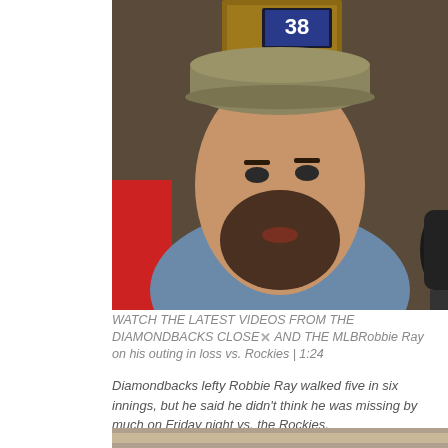[Figure (photo): A man wearing a khaki baseball cap and blue t-shirt, with a beard, speaking in what appears to be a locker room. A black microphone is visible on the right. A screen showing the number 38 is visible in the background.]
WATCH THE LATEST VIDEOS FROM THE DIAMONDBACKS CLOSE AND THE MLBRobbie Ray on his outing in loss vs. Rockies | 1:24
Diamondbacks lefty Robbie Ray walked five in six innings, but he said he didn’t think he was missing by much on Friday night vs. the Rockies.
41 of 88
[Figure (photo): Partial view of another video thumbnail at the bottom of the page.]